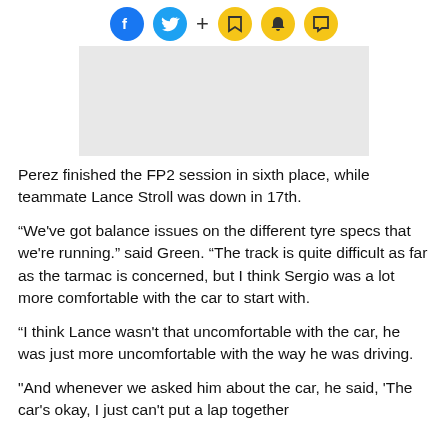Social share icons and actions bar
[Figure (other): Grey advertisement placeholder rectangle]
Perez finished the FP2 session in sixth place, while teammate Lance Stroll was down in 17th.
“We've got balance issues on the different tyre specs that we're running.” said Green. “The track is quite difficult as far as the tarmac is concerned, but I think Sergio was a lot more comfortable with the car to start with.
“I think Lance wasn't that uncomfortable with the car, he was just more uncomfortable with the way he was driving.
"And whenever we asked him about the car, he said, 'The car's okay, I just can't put a lap together